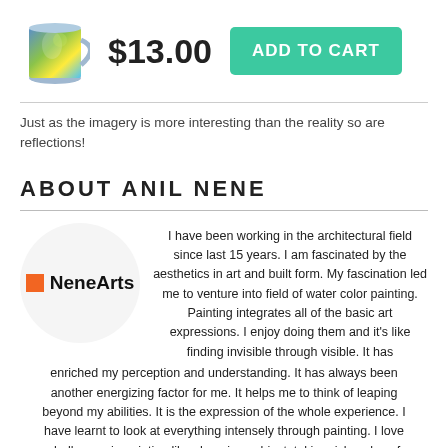[Figure (photo): A ceramic mug with colorful art print]
$13.00
ADD TO CART
Just as the imagery is more interesting than the reality so are reflections!
ABOUT ANIL NENE
[Figure (logo): NeneArts logo with orange square and bold text]
I have been working in the architectural field since last 15 years. I am fascinated by the aesthetics in art and built form. My fascination led me to venture into field of water color painting. Painting integrates all of the basic art expressions. I enjoy doing them and it's like finding invisible through visible. It has enriched my perception and understanding. It has always been another energizing factor for me. It helps me to think of leaping beyond my abilities. It is the expression of the whole experience. I have learnt to look at everything intensely through painting. I love challenges in painting like choosing subject, taking risks, play of